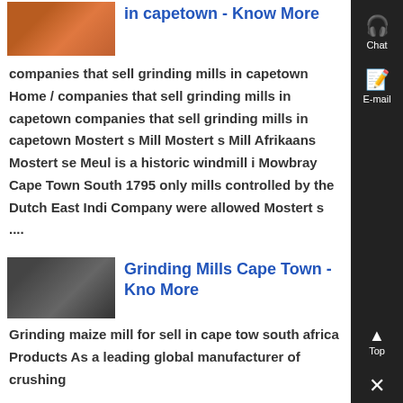in capetown - Know More
companies that sell grinding mills in capetown Home / companies that sell grinding mills in capetown companies that sell grinding mills in capetown Mostert s Mill Mostert s Mill Afrikaans Mostert se Meul is a historic windmill i Mowbray Cape Town South 1795 only mills controlled by the Dutch East Indi Company were allowed Mostert s ....
Grinding Mills Cape Town - Know More
Grinding maize mill for sell in cape tow south africa Products As a leading global manufacturer of crushing